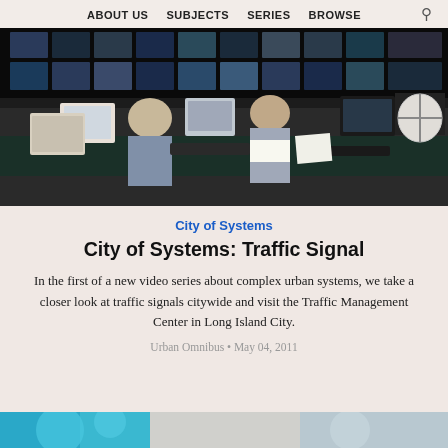ABOUT US  SUBJECTS  SERIES  BROWSE
[Figure (photo): People working at a traffic management control center with multiple monitors on the wall and computers at desks]
City of Systems
City of Systems: Traffic Signal
In the first of a new video series about complex urban systems, we take a closer look at traffic signals citywide and visit the Traffic Management Center in Long Island City.
Urban Omnibus • May 04, 2011
[Figure (photo): Partial bottom strip showing another image, cropped]